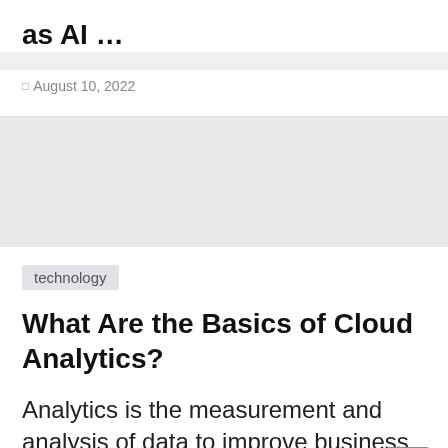as AI …
August 10, 2022
[Figure (other): Gray advertisement or placeholder block]
technology
What Are the Basics of Cloud Analytics?
Analytics is the measurement and analysis of data to improve business performance. Cloud-